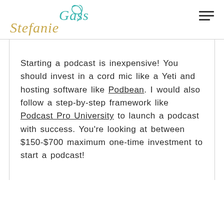Stefanie Gass
Starting a podcast is inexpensive! You should invest in a cord mic like a Yeti and hosting software like Podbean. I would also follow a step-by-step framework like Podcast Pro University to launch a podcast with success. You're looking at between $150-$700 maximum one-time investment to start a podcast!